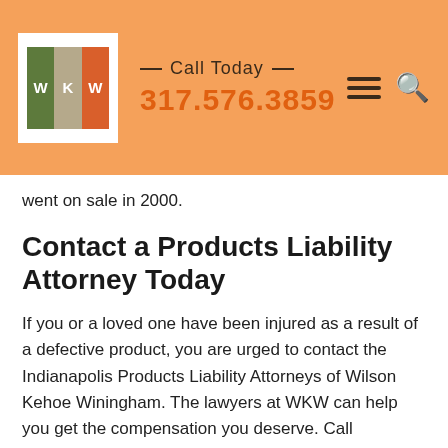Call Today 317.576.3859
went on sale in 2000.
Contact a Products Liability Attorney Today
If you or a loved one have been injured as a result of a defective product, you are urged to contact the Indianapolis Products Liability Attorneys of Wilson Kehoe Winingham. The lawyers at WKW can help you get the compensation you deserve. Call 317.576.3859 or fill out an online contact form for a free, no-obligation case evaluation.